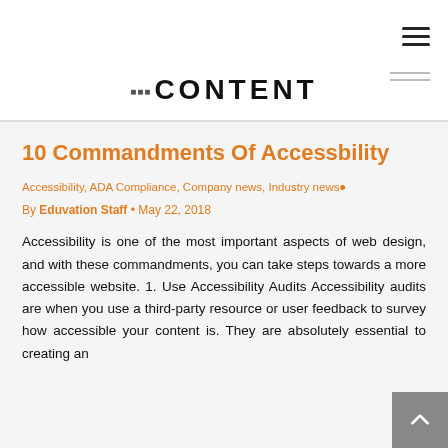CONTENT (magazine/site logo)
10 Commandments Of Accessbility
Accessibility, ADA Compliance, Company news, Industry news
By Eduvation Staff • May 22, 2018
Accessibility is one of the most important aspects of web design, and with these commandments, you can take steps towards a more accessible website. 1. Use Accessibility Audits Accessibility audits are when you use a third-party resource or user feedback to survey how accessible your content is. They are absolutely essential to creating an